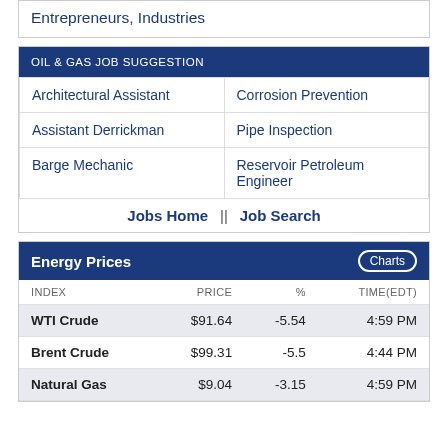Entrepreneurs, Industries
OIL & GAS JOB SUGGESTION
|  |  |
| --- | --- |
| Architectural Assistant | Corrosion Prevention |
| Assistant Derrickman | Pipe Inspection |
| Barge Mechanic | Reservoir Petroleum Engineer |
| Jobs Home  ||  Job Search |  |
Energy Prices
| INDEX | PRICE | % | TIME(EDT) |
| --- | --- | --- | --- |
| WTI Crude | $91.64 | -5.54 | 4:59 PM |
| Brent Crude | $99.31 | -5.5 | 4:44 PM |
| Natural Gas | $9.04 | -3.15 | 4:59 PM |